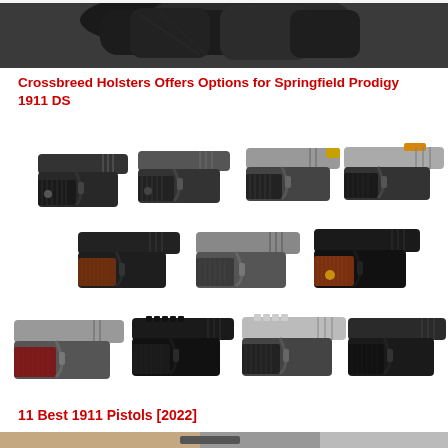[Figure (photo): Close-up photo of black holsters at the top of the page]
Crossbreed Holsters Offers Options for Springfield Prodigy 1911 DS
[Figure (photo): Grid of 11 different 1911 pistols shown in three rows: top row has 4 pistols, middle row has 3 pistols, bottom row has 4 pistols, all displayed against white background]
11 Best 1911 Pistols [2022]
[Figure (photo): Partial bottom image showing a person holding a pistol, cropped at bottom of page]